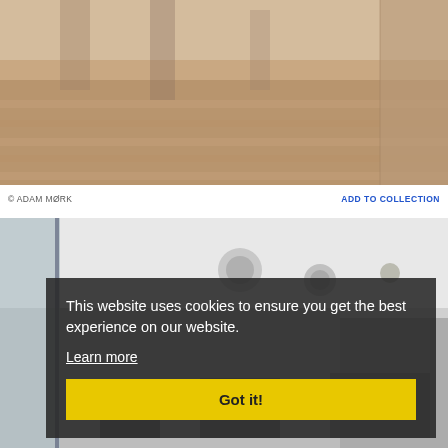[Figure (photo): Interior photo of a room with wooden flooring, partially visible people walking, warm tones]
© ADAM MØRK
ADD TO COLLECTION
[Figure (photo): Interior photo of a modern office/building with white ceiling, glass walls, and office equipment visible in background]
This website uses cookies to ensure you get the best experience on our website. Learn more
Got it!